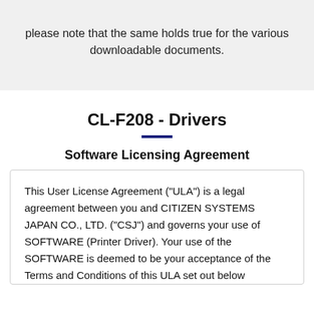please note that the same holds true for the various downloadable documents.
CL-F208 - Drivers
Software Licensing Agreement
This User License Agreement ("ULA") is a legal agreement between you and CITIZEN SYSTEMS JAPAN CO., LTD. ("CSJ") and governs your use of SOFTWARE (Printer Driver). Your use of the SOFTWARE is deemed to be your acceptance of the Terms and Conditions of this ULA set out below